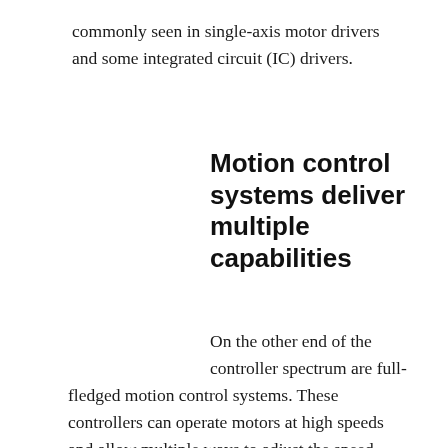commonly seen in single-axis motor drivers and some integrated circuit (IC) drivers.
Motion control systems deliver multiple capabilities
On the other end of the controller spectrum are full-fledged motion control systems. These controllers can operate motors at high speeds and allow multiple ways to adjust the speed. They employ inputs and outputs to monitor basic safety factors such as emergency stops, inhibits, end of travel limit, homing and a variety of other features. The inputs and outputs also allow for simple machine-control